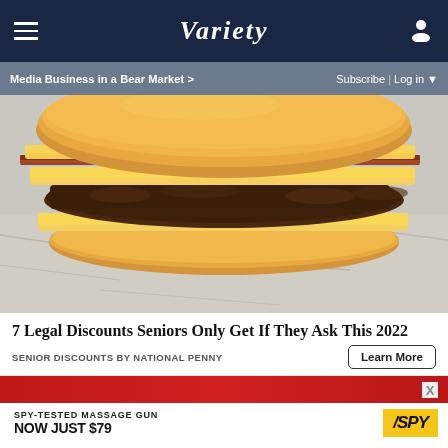VARIETY
Media Business in a Bear Market > | Subscribe | Log in
[Figure (photo): Close-up photo of a cheeseburger with melted yellow cheese slices on a beef patty, on a golden bun, placed on crinkled foil wrapper]
7 Legal Discounts Seniors Only Get If They Ask This 2022
SENIOR DISCOUNTS BY NATIONAL PENNY
Learn More
[Figure (advertisement): Advertisement banner: SPY-TESTED MASSAGE GUN NOW JUST $79, with SPY logo in yellow, red background top portion with woman's photo]